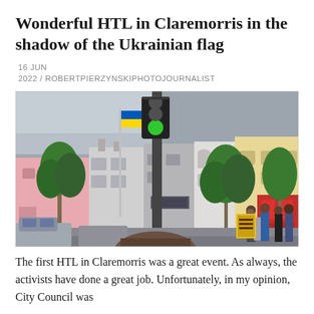Wonderful HTL in Claremorris in the shadow of the Ukrainian flag
16 JUN
2022 / ROBERTPIERZYNSKIPHOTOJOURNALIST
[Figure (photo): Street scene in Claremorris, Ireland. A Ukrainian flag (blue and yellow) flies on a flagpole in the background. There is a traffic light pole in the center foreground. The street is lined with colorful buildings including pink, white, and yellow structures, shops with a red facade on the right. Green trees line the street. People and cars are visible at street level. The sky is overcast grey.]
The first HTL in Claremorris was a great event. As always, the activists have done a great job. Unfortunately, in my opinion, City Council was